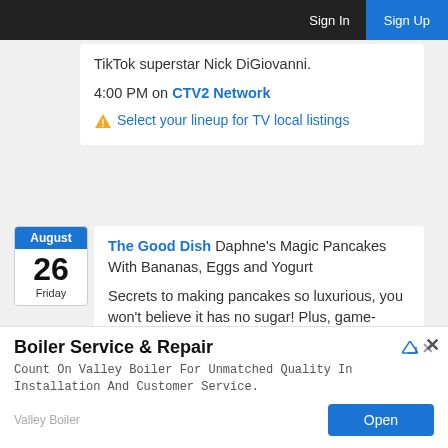Sign In  Sign Up
TikTok superstar Nick DiGiovanni.
4:00 PM on CTV2 Network
⚠ Select your lineup for TV local listings
[Figure (other): Calendar date block showing August 26, Friday]
The Good Dish Daphne's Magic Pancakes With Bananas, Eggs and Yogurt
Secrets to making pancakes so luxurious, you won't believe it has no sugar! Plus, game-
Boiler Service & Repair
Count On Valley Boiler For Unmatched Quality In Installation And Customer Service.
Valley Boiler  Open